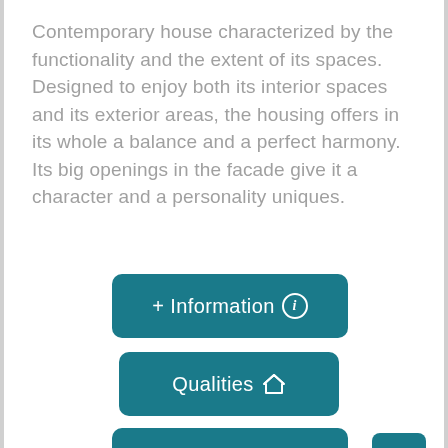Contemporary house characterized by the functionality and the extent of its spaces. Designed to enjoy both its interior spaces and its exterior areas, the housing offers in its whole a balance and a perfect harmony. Its big openings in the facade give it a character and a personality uniques.
[Figure (other): Button: + Information with info icon, teal rounded rectangle]
[Figure (other): Button: Qualities with house icon, teal rounded rectangle]
[Figure (other): Button: Plans with edit icon, teal rounded rectangle]
[Figure (other): Small square teal button with up arrow chevron, bottom right]